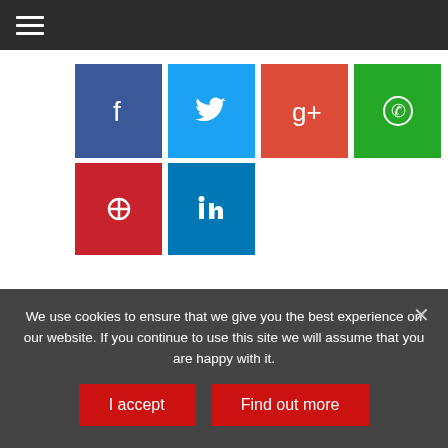Navigation menu
[Figure (infographic): Six social media share buttons: Facebook (blue), Twitter (light blue), Google+ (red), WhatsApp (green), Pinterest (dark red), LinkedIn (blue)]
Ad Hoc Group of General Obligation Bondholders
Ambac Assurance Corp.
Assured Guaranty Corp.
We use cookies to ensure that we give you the best experience on our website. If you continue to use this site we will assume that you are happy with it.
I accept
Find out more